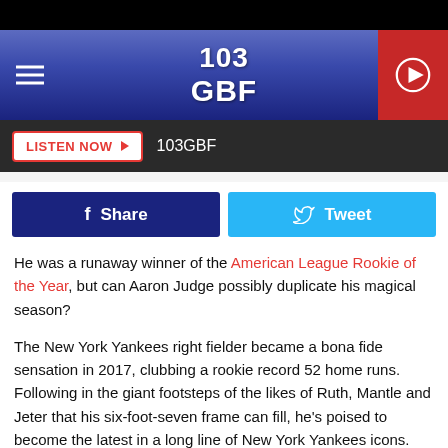[Figure (screenshot): 103GBF radio station website header with logo, hamburger menu, and play button]
LISTEN NOW ▶  103GBF
[Figure (infographic): Facebook Share and Twitter Tweet social sharing buttons]
He was a runaway winner of the American League Rookie of the Year, but can Aaron Judge possibly duplicate his magical season?
The New York Yankees right fielder became a bona fide sensation in 2017, clubbing a rookie record 52 home runs. Following in the giant footsteps of the likes of Ruth, Mantle and Jeter that his six-foot-seven frame can fill, he's poised to become the latest in a long line of New York Yankees icons.